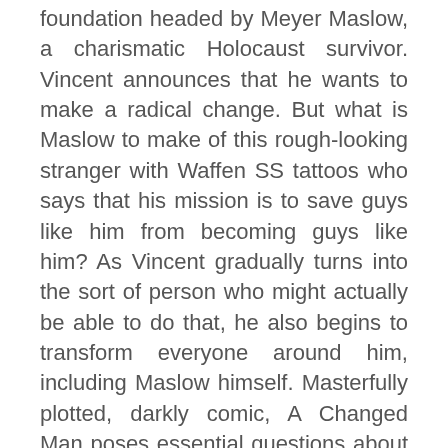foundation headed by Meyer Maslow, a charismatic Holocaust survivor. Vincent announces that he wants to make a radical change. But what is Maslow to make of this rough-looking stranger with Waffen SS tattoos who says that his mission is to save guys like him from becoming guys like him? As Vincent gradually turns into the sort of person who might actually be able to do that, he also begins to transform everyone around him, including Maslow himself. Masterfully plotted, darkly comic, A Changed Man poses essential questions about human nature, morality, and the capacity for change, illuminating the everyday transactions, both political and personal, in our lives.